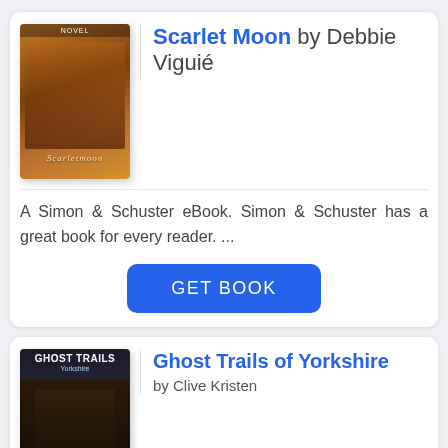[Figure (illustration): Book cover of 'Scarlet Moon' with warm brown/orange tones]
Scarlet Moon by Debbie Viguié
A Simon & Schuster eBook. Simon & Schuster has a great book for every reader. ...
[Figure (illustration): Book cover of 'Ghost Trails of Yorkshire' with dark night scene]
Ghost Trails of Yorkshire by Clive Kristen
Tried and tested ghosthunting trails - mainly in the rural areas of ... Yorkshire Dis...